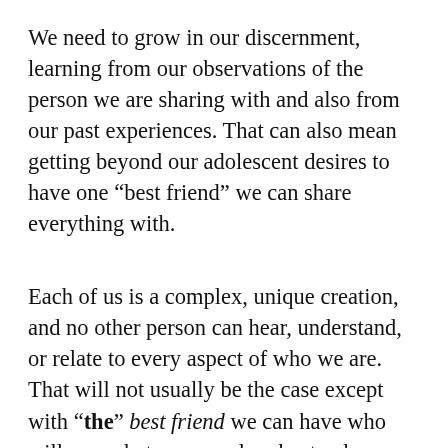We need to grow in our discernment, learning from our observations of the person we are sharing with and also from our past experiences. That can also mean getting beyond our adolescent desires to have one “best friend” we can share everything with.
Each of us is a complex, unique creation, and no other person can hear, understand, or relate to every aspect of who we are. That will not usually be the case except with “the” best friend we can have who will never betray us and understands every aspect of us more than we do — the